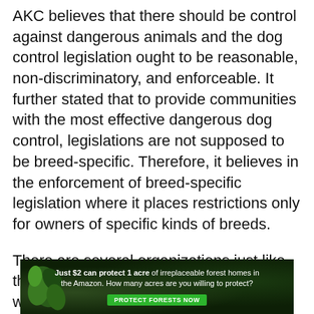AKC believes that there should be control against dangerous animals and the dog control legislation ought to be reasonable, non-discriminatory, and enforceable. It further stated that to provide communities with the most effective dangerous dog control, legislations are not supposed to be breed-specific. Therefore, it believes in the enforcement of breed-specific legislation where it places restrictions only for owners of specific kinds of breeds.
There are several organizations just like the American Dog Owners Association who think BSL allows for the violation of the constitutional rights of dogs' human
[Figure (infographic): Advertisement banner with dark green forest background. Text reads: 'Just $2 can protect 1 acre of irreplaceable forest homes in the Amazon. How many acres are you willing to protect?' with a green button labeled 'PROTECT FORESTS NOW']